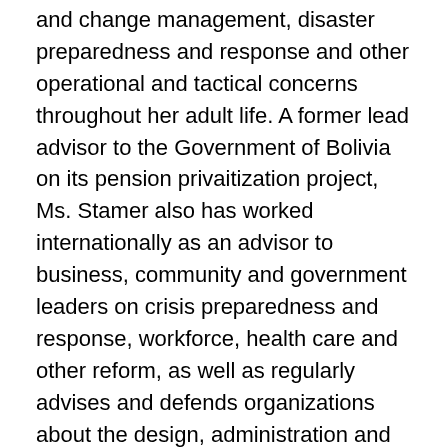and change management, disaster preparedness and response and other operational and tactical concerns throughout her adult life. A former lead advisor to the Government of Bolivia on its pension privaitization project, Ms. Stamer also has worked internationally as an advisor to business, community and government leaders on crisis preparedness and response, workforce, health care and other reform, as well as regularly advises and defends organizations about the design, administration and defense of their organizations workforce, employee benefit and compensation, safety, discipline and other management practices and actions.
Board Certified in Labor and Employment Law By the Texas Board of Legal Specialization, Scribe for the ABA JCEB Annual Agency Meeting with OCR, Vice Chair of the ABA International Section Life Sciences Committee, and